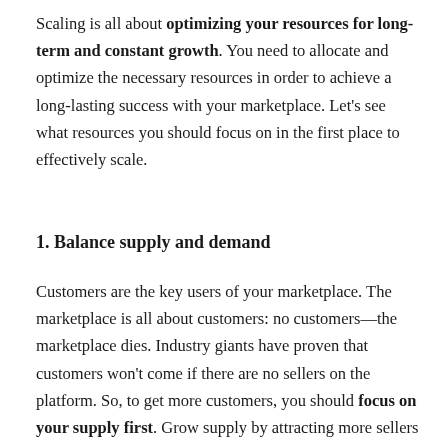Scaling is all about optimizing your resources for long-term and constant growth. You need to allocate and optimize the necessary resources in order to achieve a long-lasting success with your marketplace. Let's see what resources you should focus on in the first place to effectively scale.
1. Balance supply and demand
Customers are the key users of your marketplace. The marketplace is all about customers: no customers—the marketplace dies. Industry giants have proven that customers won't come if there are no sellers on the platform. So, to get more customers, you should focus on your supply first. Grow supply by attracting more sellers to your marketplace.